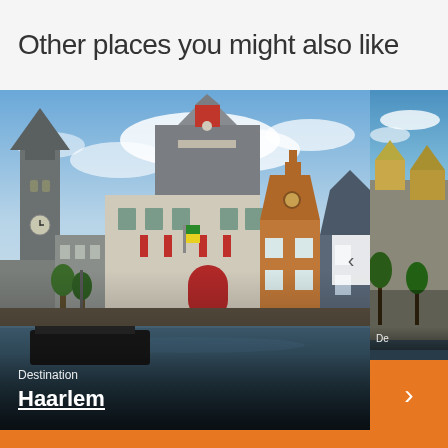Other places you might also like
[Figure (photo): Carousel showing destination photos. Main image: Haarlem cityscape with historic Dutch buildings, a church tower with clock, canal with boat, red shutters and doors on buildings under a blue cloudy sky. Partially visible second image on right side showing another European city. Navigation arrows (back/forward) overlaid. Orange forward button at bottom right.]
Destination
Haarlem
De